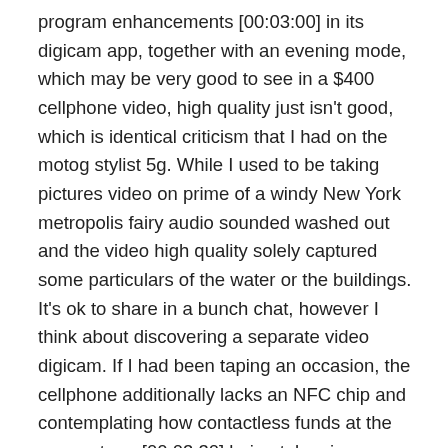program enhancements [00:03:00] in its digicam app, together with an evening mode, which may be very good to see in a $400 cellphone video, high quality just isn't good, which is identical criticism that I had on the motog stylist 5g. While I used to be taking pictures video on prime of a windy New York metropolis fairy audio sounded washed out and the video high quality solely captured some particulars of the water or the buildings. It's ok to share in a bunch chat, however I think about discovering a separate video digicam. If I had been taping an occasion, the cellphone additionally lacks an NFC chip and contemplating how contactless funds at the moment are [00:03:30] being taken in every single place from comfort shops to transit methods, I really feel like $400 cellphone ought to embody that characteristic. It's turning into extra of a necessity and it is price declaring in case it is one thing you want many telephones, $400 and fewer additionally